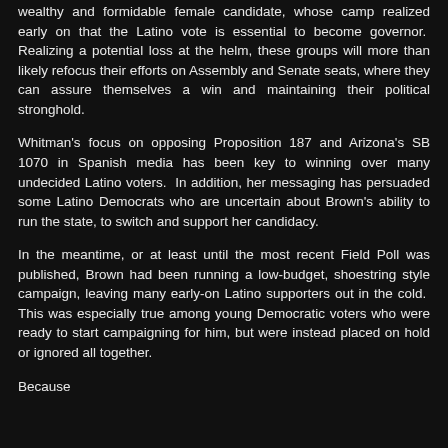wealthy and formidable female candidate, whose camp realized early on that the Latino vote is essential to become governor. Realizing a potential loss at the helm, these groups will more than likely refocus their efforts on Assembly and Senate seats, where they can assure themselves a win and maintaining their political stronghold.
Whitman's focus on opposing Proposition 187 and Arizona's SB 1070 in Spanish media has been key to winning over many undecided Latino voters. In addition, her messaging has persuaded some Latino Democrats who are uncertain about Brown's ability to run the state, to switch and support her candidacy.
In the meantime, or at least until the most recent Field Poll was published, Brown had been running a low-budget, shoestring style campaign, leaving many early-on Latino supporters out in the cold. This was especially true among young Democratic voters who were ready to start campaigning for him, but were instead placed on hold or ignored all together.
Because...